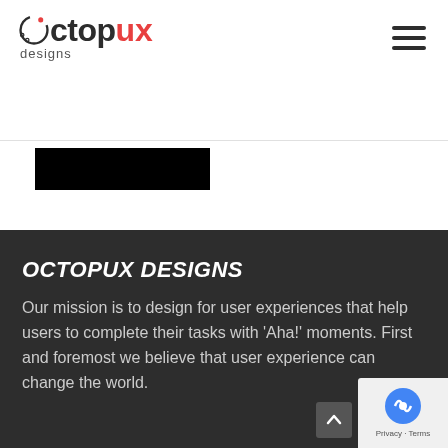[Figure (logo): OctopUX Designs logo — circular octopus-like icon with 'octop' in dark gray bold text, 'ux' in red bold text, and 'designs' in small gray text below]
[Figure (illustration): Hamburger menu icon — three dark horizontal lines stacked]
[Figure (other): Black rectangle bar, partially redacted or image placeholder]
OCTOPUX DESIGNS
Our mission is to design for user experiences that help users to complete their tasks with 'Aha!' moments. First and foremost we believe that user experience can change the world.